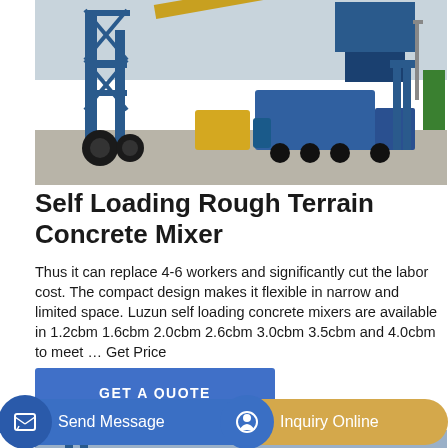[Figure (photo): Blue concrete batching plant / self loading concrete mixer machinery in outdoor industrial yard with trucks and equipment visible]
Self Loading Rough Terrain Concrete Mixer
Thus it can replace 4-6 workers and significantly cut the labor cost. The compact design makes it flexible in narrow and limited space. Luzun self loading concrete mixers are available in 1.2cbm 1.6cbm 2.0cbm 2.6cbm 3.0cbm 3.5cbm and 4.0cbm to meet … Get Price
GET A QUOTE
[Figure (photo): Partial view of blue construction/concrete machinery structure]
Send Message
Inquiry Online